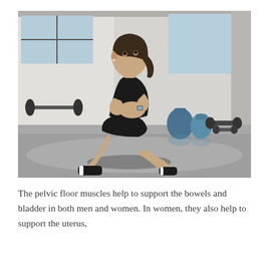[Figure (photo): A young woman in athletic wear performing a squat exercise in a gym. She is wearing a black tank top and black shorts with black sneakers and white socks. Her hands are clasped together at chest height. In the background there are gym equipment including kettlebells and dumbbells on a shiny gym floor, with large windows and white brick walls.]
The pelvic floor muscles help to support the bowels and bladder in both men and women. In women, they also help to support the uterus,